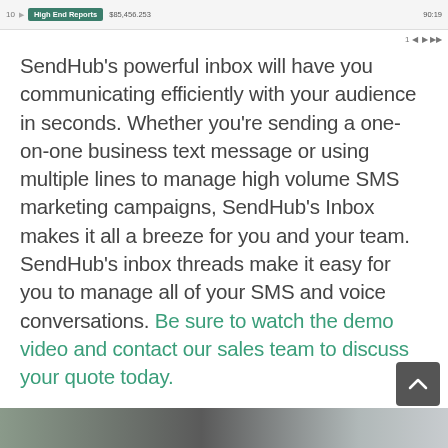[Figure (screenshot): A partial screenshot of a web interface top bar showing a tab labeled 'High End Reports' with some columns and data, along with pagination controls.]
SendHub's powerful inbox will have you communicating efficiently with your audience in seconds. Whether you're sending a one-on-one business text message or using multiple lines to manage high volume SMS marketing campaigns, SendHub's Inbox makes it all a breeze for you and your team. SendHub's inbox threads make it easy for you to manage all of your SMS and voice conversations. Be sure to watch the demo video and contact our sales team to discuss your quote today.
[Figure (photo): Bottom strip showing a blurred photo of people, partially visible at the very bottom of the page.]